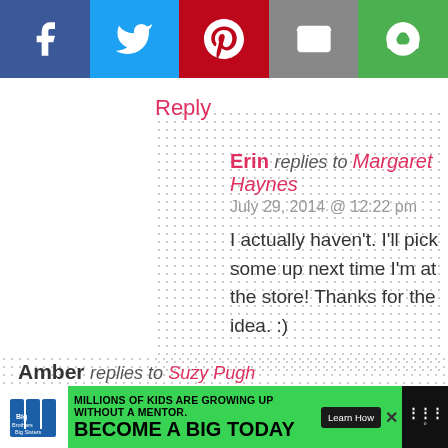[Figure (screenshot): Social share bar with Facebook (blue), Twitter (light blue), Pinterest (red), Email (gray), and another share button (green)]
Reply
Erin replies to Margaret Haynes
July 29, 2014 @ 12:22 pm
I actually haven't. I'll pick some up next time I'm at the store! Thanks for the idea. :)
Amber replies to Suzy Pugh
August 13, 2016 @ 6:43 pm
Could it have something to do with the ripeness? My experience is you can add a little zucchini and/or dates to taste to
[Figure (screenshot): Advertisement banner: Big Brothers Big Sisters - Millions of kids are growing up without a mentor. Become a Big Today. Learn How.]